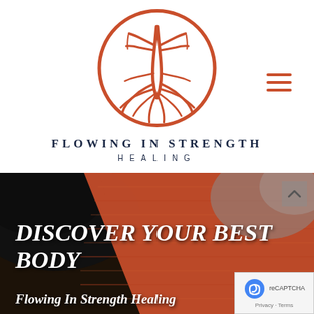[Figure (logo): Circular logo with red/orange tree roots design on white background]
FLOWING IN STRENGTH HEALING
[Figure (photo): Dark background with orange/red woven or textured fabric diagonal element, wellness/massage imagery]
DISCOVER YOUR BEST BODY
Flowing In Strength Healing